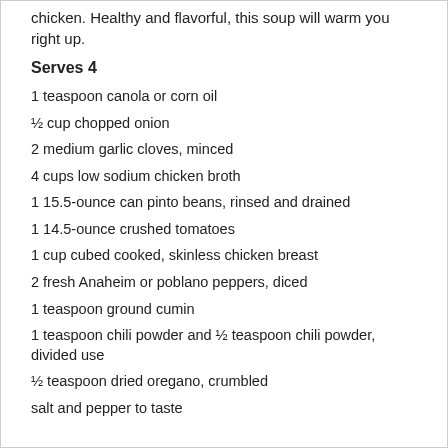chicken. Healthy and flavorful, this soup will warm you right up.
Serves 4
1 teaspoon canola or corn oil
½ cup chopped onion
2 medium garlic cloves, minced
4 cups low sodium chicken broth
1 15.5-ounce can pinto beans, rinsed and drained
1 14.5-ounce crushed tomatoes
1 cup cubed cooked, skinless chicken breast
2 fresh Anaheim or poblano peppers, diced
1 teaspoon ground cumin
1 teaspoon chili powder and ½ teaspoon chili powder, divided use
½ teaspoon dried oregano, crumbled
salt and pepper to taste